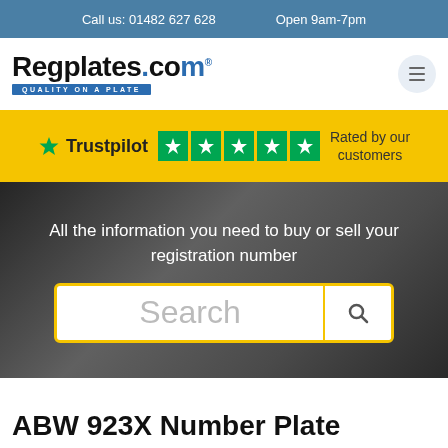Call us: 01482 627 628   Open 9am-7pm
[Figure (logo): Regplates.com logo with tagline QUALITY ON A PLATE]
Trustpilot ★★★★★ Rated by our customers
All the information you need to buy or sell your registration number
Search
ABW 923X Number Plate